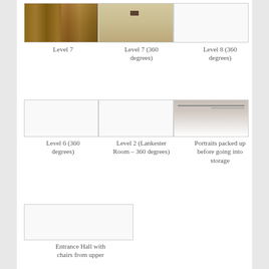[Figure (photo): Photo of library bookshelves, Level 7]
[Figure (photo): Photo of ceiling or room, Level 7 (360 degrees)]
[Figure (photo): Empty image placeholder, Level 8 (360 degrees)]
Level 7
Level 7 (360 degrees)
Level 8 (360 degrees)
[Figure (photo): Empty image placeholder, Level 6 (360 degrees)]
[Figure (photo): Empty image placeholder, Level 2 (Lankester Room – 360 degrees)]
[Figure (photo): Photo of portraits packed up before going into storage]
Level 6 (360 degrees)
Level 2 (Lankester Room – 360 degrees)
Portraits packed up before going into storage
[Figure (photo): Empty image placeholder, Entrance Hall with chairs from upper]
Entrance Hall with chairs from upper